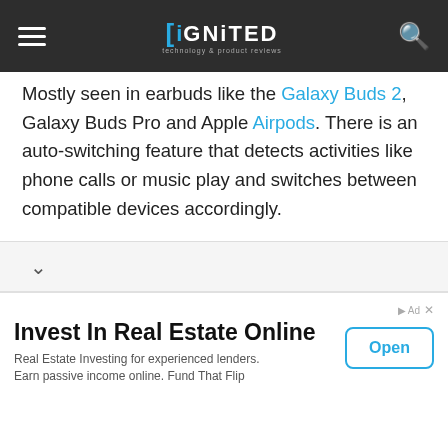iGNiTED
Mostly seen in earbuds like the Galaxy Buds 2, Galaxy Buds Pro and Apple Airpods. There is an auto-switching feature that detects activities like phone calls or music play and switches between compatible devices accordingly.
[Figure (illustration): Two black wireless earbuds with a large question mark between them, suggesting a question about which earbuds to choose.]
Invest In Real Estate Online
Real Estate Investing for experienced lenders. Earn passive income online. Fund That Flip